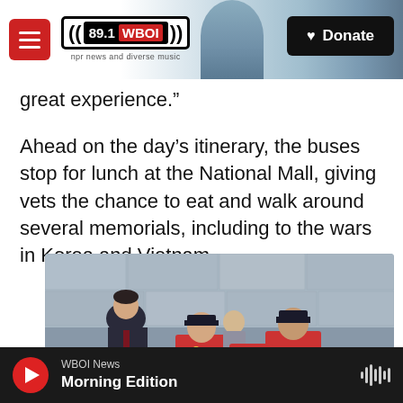89.1 WBOI — npr news and diverse music | Donate
great experience.”
Ahead on the day’s itinerary, the buses stop for lunch at the National Mall, giving vets the chance to eat and walk around several memorials, including to the wars in Korea and Vietnam.
[Figure (photo): Photo of a man in a suit leaning over to speak with two elderly veterans wearing red shirts and medals, seated near a stone memorial wall.]
WBOI News — Morning Edition (audio player bar)